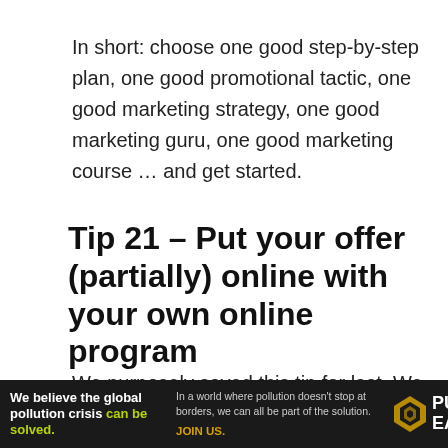In short: choose one good step-by-step plan, one good promotional tactic, one good marketing strategy, one good marketing guru, one good marketing course … and get started.
Tip 21 – Put your offer (partially) online with your own online program
We purposely saved this tip for last. We know that your heart actually tells you that you really want to meet people – in person – and that digital coaching may make your heart sad.
[Figure (infographic): Advertisement banner for Pure Earth: 'We believe the global pollution crisis can be solved.' with tagline 'In a world where pollution doesn't stop at borders, we can all be part of the solution. JOIN US.' and Pure Earth logo.]